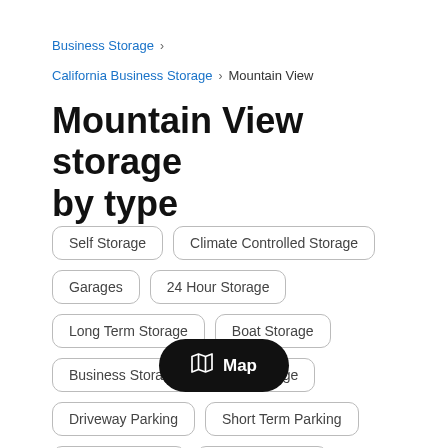Business Storage >
California Business Storage > Mountain View
Mountain View storage by type
Self Storage
Climate Controlled Storage
Garages
24 Hour Storage
Long Term Storage
Boat Storage
Business Storage
Car Storage
Driveway Parking
Short Term Parking
Monthly Parking
Parking Spaces